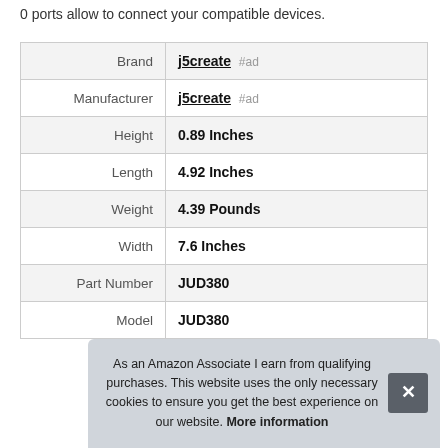0 ports allow to connect your compatible devices.
|  |  |
| --- | --- |
| Brand | j5create #ad |
| Manufacturer | j5create #ad |
| Height | 0.89 Inches |
| Length | 4.92 Inches |
| Weight | 4.39 Pounds |
| Width | 7.6 Inches |
| Part Number | JUD380 |
| Model | JUD380 |
As an Amazon Associate I earn from qualifying purchases. This website uses the only necessary cookies to ensure you get the best experience on our website. More information